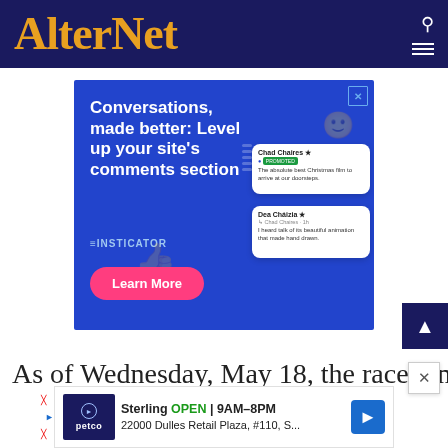AlterNet
[Figure (screenshot): Advertisement banner for Insticator comments platform. Blue background with text 'Conversations, made better: Level up your site's comments section', INSTICATOR logo, 'Learn More' pink button, decorative smiley face, and two comment bubble mockups from Chad Chaires and Dea Cháizia.]
As of Wednesday, May 18, the race remains a
[Figure (screenshot): Petco Sterling location ad: 'Sterling OPEN 9AM–8PM, 22000 Dulles Retail Plaza, #110, S...' with Petco logo and map arrow icon.]